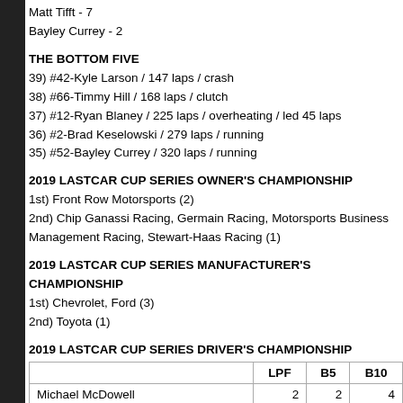Matt Tifft - 7
Bayley Currey - 2
THE BOTTOM FIVE
39) #42-Kyle Larson / 147 laps / crash
38) #66-Timmy Hill / 168 laps / clutch
37) #12-Ryan Blaney / 225 laps / overheating / led 45 laps
36) #2-Brad Keselowski / 279 laps / running
35) #52-Bayley Currey / 320 laps / running
2019 LASTCAR CUP SERIES OWNER'S CHAMPIONSHIP
1st) Front Row Motorsports (2)
2nd) Chip Ganassi Racing, Germain Racing, Motorsports Business Management Racing, Stewart-Haas Racing (1)
2019 LASTCAR CUP SERIES MANUFACTURER'S CHAMPIONSHIP
1st) Chevrolet, Ford (3)
2nd) Toyota (1)
2019 LASTCAR CUP SERIES DRIVER'S CHAMPIONSHIP
|  | LPF | B5 | B10 |
| --- | --- | --- | --- |
| Michael McDowell | 2 | 2 | 4 |
| Cody Ware | 1 | 5 | 6 |
| Joey Gase |  | 1 | 3 |